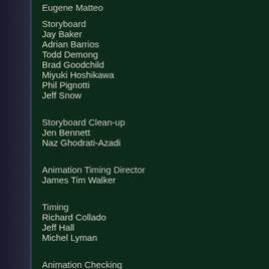Eugene Matteo
Storyboard
Jay Baker
Adrian Barrios
Todd Demong
Brad Goodchild
Miyuki Hoshikawa
Phil Pignotti
Jeff Snow
Storyboard Clean-up
Jen Bennett
Naz Ghodrati-Azadi
Animation Timing Director
James Tim Walker
Timing
Richard Collado
Jeff Hall
Michel Lyman
Animation Checking